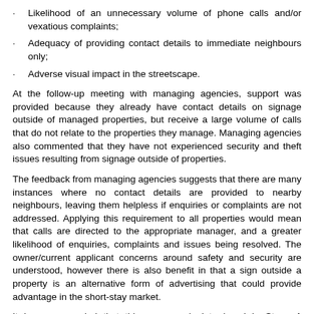Likelihood of an unnecessary volume of phone calls and/or vexatious complaints;
Adequacy of providing contact details to immediate neighbours only;
Adverse visual impact in the streetscape.
At the follow-up meeting with managing agencies, support was provided because they already have contact details on signage outside of managed properties, but receive a large volume of calls that do not relate to the properties they manage. Managing agencies also commented that they have not experienced security and theft issues resulting from signage outside of properties.
The feedback from managing agencies suggests that there are many instances where no contact details are provided to nearby neighbours, leaving them helpless if enquiries or complaints are not addressed. Applying this requirement to all properties would mean that calls are directed to the appropriate manager, and a greater likelihood of enquiries, complaints and issues being resolved. The owner/current applicant concerns around safety and security are understood, however there is also benefit in that a sign outside a property is an alternative form of advertising that could provide advantage in the short-stay market.
It is recommended that this measure is introduced in Stage 1 through a new condition of registration, stating that the premises must display a sign, visible from the street, notifying of a current